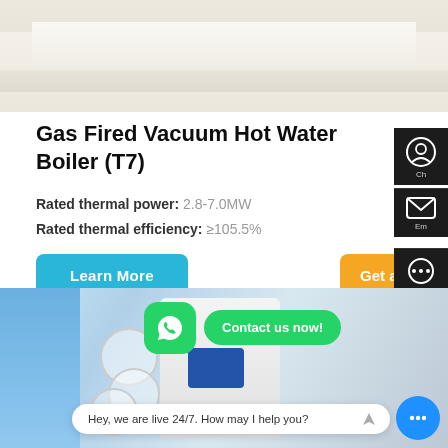[Figure (photo): Top portion of a white modern counter/cabinet with dark navy blue trim bar along the bottom edge, on a light beige floor]
Gas Fired Vacuum Hot Water Boiler (T7)
Rated thermal power: 2.8-7.0MW
Rated thermal efficiency: ≥105.5%
Learn More
Get a quot
[Figure (photo): Bottom section showing a modern boiler unit in a bright room, with WhatsApp icon, 'Contact us now!' green bubble, and a live chat bubble saying 'Hey, we are live 24/7. How may I help you?']